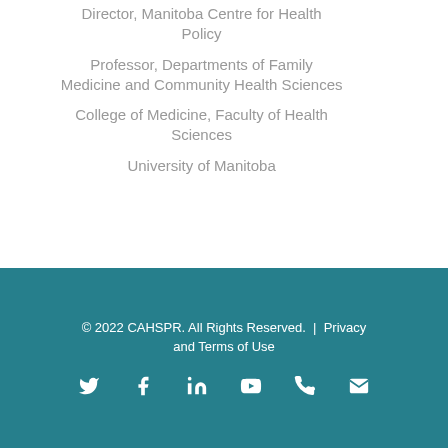Director, Manitoba Centre for Health Policy
Professor, Departments of Family Medicine and Community Health Sciences
College of Medicine, Faculty of Health Sciences
University of Manitoba
© 2022 CAHSPR. All Rights Reserved. | Privacy and Terms of Use